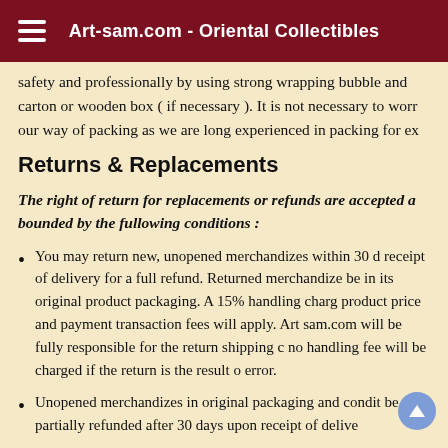Art-sam.com - Oriental Collectibles
safety and professionally by using strong wrapping bubble and carton or wooden box ( if necessary ). It is not necessary to worry our way of packing as we are long experienced in packing for ex
Returns & Replacements
The right of return for replacements or refunds are accepted all bounded by the fullowing conditions :
You may return new, unopened merchandizes within 30 d receipt of delivery for a full refund. Returned merchandize be in its original product packaging. A 15% handling charg product price and payment transaction fees will apply. Art sam.com will be fully responsible for the return shipping c no handling fee will be charged if the return is the result o error.
Unopened merchandizes in original packaging and conditi be partially refunded after 30 days upon receipt of deliver
In case there has been damage in materials itself and we state damage or restoration of the suld item in description